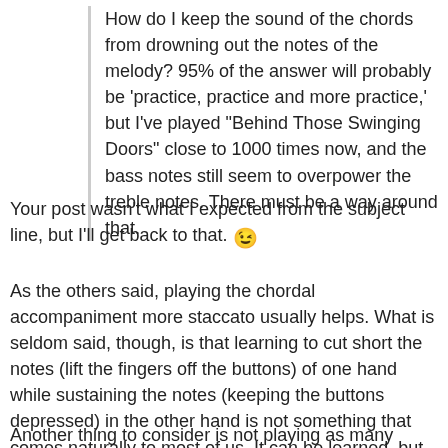How do I keep the sound of the chords from drowning out the notes of the melody? 95% of the answer will probably be 'practice, practice and more practice,' but I've played "Behind Those Swinging Doors" close to 1000 times now, and the bass notes still seem to overpower the treble notes. There must be a way around that.
Your post wasn't what I expected from the subject line, but I'll get back to that. 😉
As the others said, playing the chordal accompaniment more staccato usually helps. What is seldom said, though, is that learning to cut short the notes (lift the fingers off the buttons) of one hand while sustaining the notes (keeping the buttons depressed) in the other hand is not something that comes naturally to most of us. It can be learned, but it's easier said than done. It will take practice, and you may need to practice the two hands separately, then try to put them together without losing the difference.
Another thing to consider is not playing as many notes at